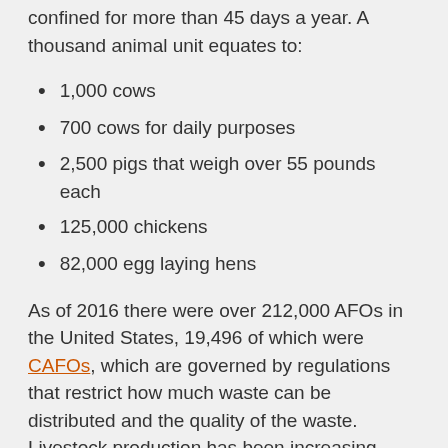confined for more than 45 days a year. A thousand animal unit equates to:
1,000 cows
700 cows for daily purposes
2,500 pigs that weigh over 55 pounds each
125,000 chickens
82,000 egg laying hens
As of 2016 there were over 212,000 AFOs in the United States, 19,496 of which were CAFOs, which are governed by regulations that restrict how much waste can be distributed and the quality of the waste. Livestock production has been increasing every year and is becoming more dominated by CAFOs around the globe. It is interesting to note that CAFOs account for 74% of